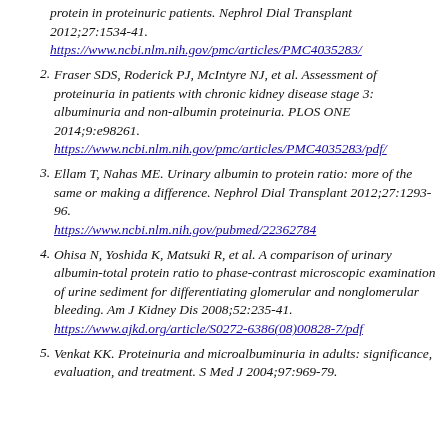protein in proteinuric patients. Nephrol Dial Transplant 2012;27:1534-41. https://www.ncbi.nlm.nih.gov/pmc/articles/PMC4035283/
2. Fraser SDS, Roderick PJ, McIntyre NJ, et al. Assessment of proteinuria in patients with chronic kidney disease stage 3: albuminuria and non-albumin proteinuria. PLOS ONE 2014;9:e98261. https://www.ncbi.nlm.nih.gov/pmc/articles/PMC4035283/pdf/
3. Ellam T, Nahas ME. Urinary albumin to protein ratio: more of the same or making a difference. Nephrol Dial Transplant 2012;27:1293-96. https://www.ncbi.nlm.nih.gov/pubmed/22362784
4. Ohisa N, Yoshida K, Matsuki R, et al. A comparison of urinary albumin-total protein ratio to phase-contrast microscopic examination of urine sediment for differentiating glomerular and nonglomerular bleeding. Am J Kidney Dis 2008;52:235-41. https://www.ajkd.org/article/S0272-6386(08)00828-7/pdf
5. Venkat KK. Proteinuria and microalbuminuria in adults: significance, evaluation, and treatment. S Med J 2004;97:969-79.